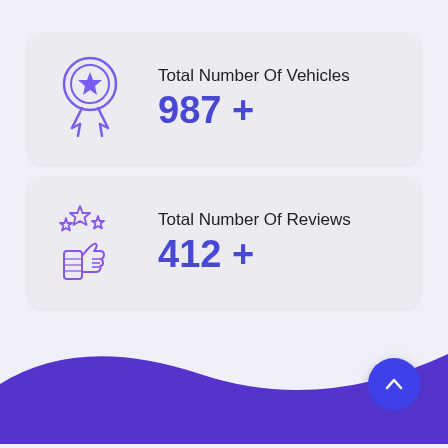[Figure (infographic): Card showing award/medal icon with text: Total Number Of Vehicles 987 +]
[Figure (infographic): Card showing thumbs up with stars icon with text: Total Number Of Reviews 412 +]
[Figure (illustration): Purple wave decoration at the bottom of the page with a blue circular scroll-to-top button]